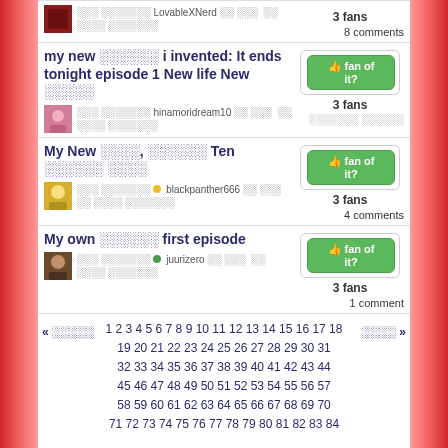LovableXNerd — 3 fans, 8 comments
my new ██████ i invented: It ends tonight episode 1 New life New ██████
hinamoridream10 — 3 fans
My New ████, ██████ Ten ██████ ████
blackpanther666 — 3 fans, 4 comments
My own ██████ first episode
juurizero — 3 fans, 1 comment
« ██████  1 2 3 4 5 6 7 8 9 10 11 12 13 14 15 16 17 18 19 20 21 22 23 24 25 26 27 28 29 30 31 32 33 34 35 36 37 38 39 40 41 42 43 44 45 46 47 48 49 50 51 52 53 54 55 56 57 58 59 60 61 62 63 64 65 66 67 68 69 70 71 72 73 74 75 76 77 78 79 80 81 82 83 84  ████ »